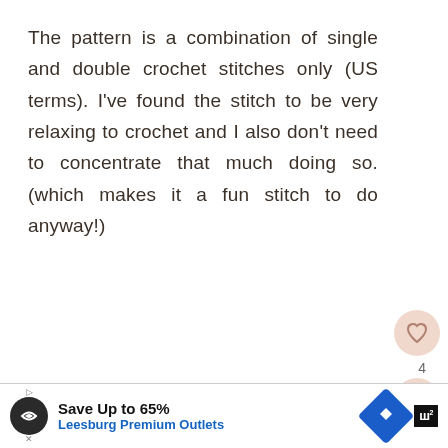The pattern is a combination of single and double crochet stitches only (US terms). I've found the stitch to be very relaxing to crochet and I also don't need to concentrate that much doing so. (which makes it a fun stitch to do anyway!)
I used this crochet stitch pattern to create the 5-Shades of Grey Blanket - scroll down for the link.
[Figure (screenshot): WHAT'S NEXT widget showing Easy Moss Stitch Croch... with a striped yarn thumbnail image]
[Figure (infographic): Advertisement bar: Save Up to 65% Leesburg Premium Outlets with circular logo, blue direction sign icon]